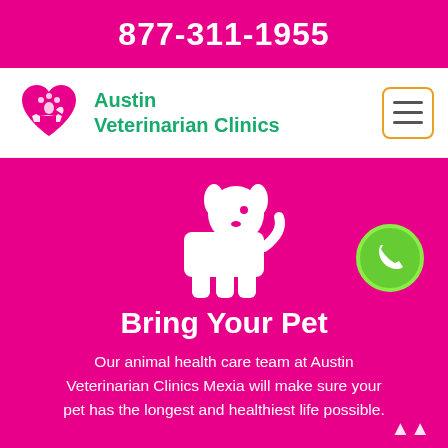877-311-1955
[Figure (logo): Austin Veterinarian Clinics logo with pink heart and paw print icon]
Austin Veterinarian Clinics
[Figure (illustration): White dog silhouette icon on magenta background with green phone call button]
Bring Your Pet
Our animal health care team at Austin Veterinarian Clinics Mexia will make sure your pet has the longest and healthiest life possible.